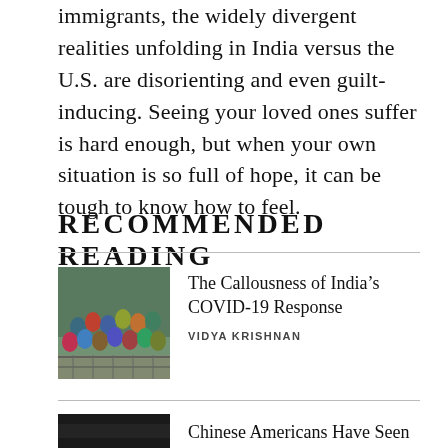immigrants, the widely divergent realities unfolding in India versus the U.S. are disorienting and even guilt-inducing. Seeing your loved ones suffer is hard enough, but when your own situation is so full of hope, it can be tough to know how to feel.
RECOMMENDED READING
[Figure (photo): Group of people crowded on bleachers or scaffolding, viewed from above, colorful clothing]
The Callousness of India's COVID-19 Response
VIDYA KRISHNAN
[Figure (photo): Dark image, partial view]
Chinese Americans Have Seen This